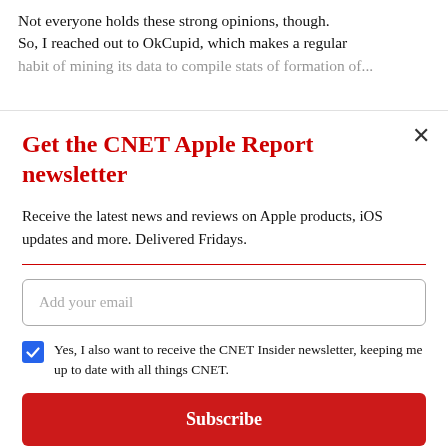Not everyone holds these strong opinions, though. So, I reached out to OkCupid, which makes a regular habit of mining its data to compile stats of....
Get the CNET Apple Report newsletter
Receive the latest news and reviews on Apple products, iOS updates and more. Delivered Fridays.
[Figure (screenshot): Email signup form with 'Add your email' input field, a checked blue checkbox with text 'Yes, I also want to receive the CNET Insider newsletter, keeping me up to date with all things CNET.', a red Subscribe button, and legal disclaimer text.]
By signing up, you agree to our Terms of Use and acknowledge the data practices in our Privacy Policy. You may unsubscribe at any time.